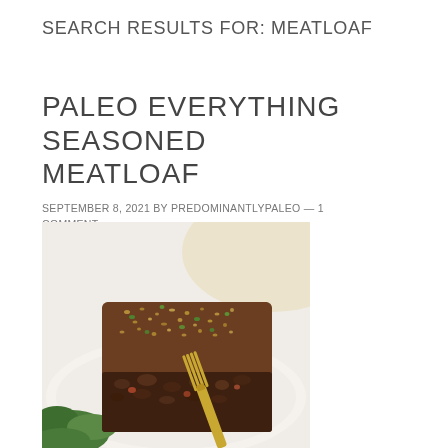SEARCH RESULTS FOR: MEATLOAF
PALEO EVERYTHING SEASONED MEATLOAF
SEPTEMBER 8, 2021 BY PREDOMINANTLYPALEO — 1 COMMENT
[Figure (photo): A slice of paleo everything seasoned meatloaf on a white plate with a gold fork, topped with seeds and herbs, with green herbs visible in the lower left corner.]